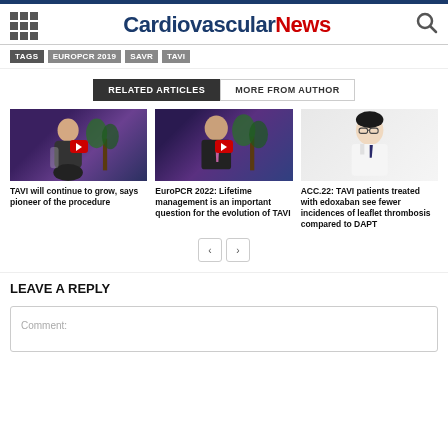Cardiovascular News
TAGS  EUROPCR 2019  SAVR  TAVI
RELATED ARTICLES  MORE FROM AUTHOR
[Figure (photo): Video thumbnail: elderly man seated in modern chair with plant in background, purple lighting]
TAVI will continue to grow, says pioneer of the procedure
[Figure (photo): Video thumbnail: man in suit with pink tie, plant in background, purple lighting]
EuroPCR 2022: Lifetime management is an important question for the evolution of TAVI
[Figure (photo): Photo: Asian man in white coat, smiling, glasses]
ACC.22: TAVI patients treated with edoxaban see fewer incidences of leaflet thrombosis compared to DAPT
LEAVE A REPLY
Comment: